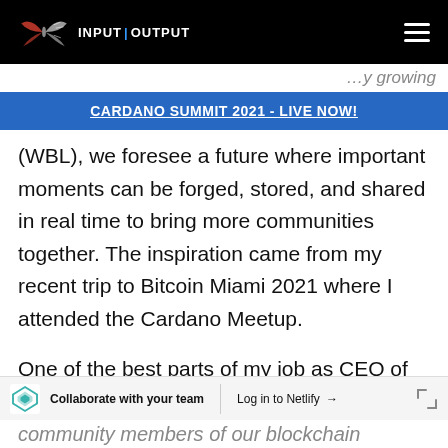INPUT | OUTPUT
(continues) ...y growing...
CARDANO SUMMIT 2021 - LIVE NOW!
(WBL), we foresee a future where important moments can be forged, stored, and shared in real time to bring more communities together. The inspiration came from my recent trip to Bitcoin Miami 2021 where I attended the Cardano Meetup.
One of the best parts of my job as CEO of
Collaborate with your team   Log in to Netlify →
community members of our blockchain